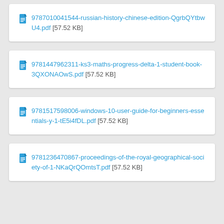9787010041544-russian-history-chinese-edition-QgrbQYtbwU4.pdf [57.52 KB]
9781447962311-ks3-maths-progress-delta-1-student-book-3QXONAOwS.pdf [57.52 KB]
9781517598006-windows-10-user-guide-for-beginners-essentials-y-1-tE5i4fDL.pdf [57.52 KB]
9781236470867-proceedings-of-the-royal-geographical-society-of-1-NKaQrQOmtsT.pdf [57.52 KB]